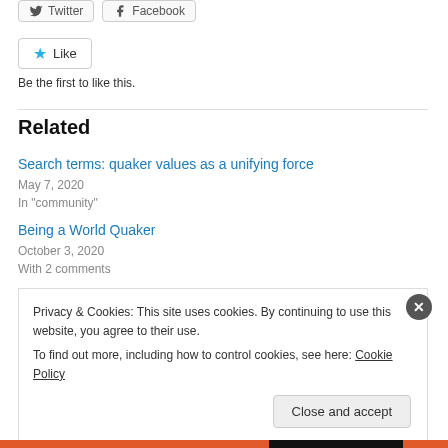[Figure (other): Social share buttons: Twitter and Facebook]
[Figure (other): Like button with blue star icon]
Be the first to like this.
Related
Search terms: quaker values as a unifying force
May 7, 2020
In "community"
Being a World Quaker
October 3, 2020
With 2 comments
Privacy & Cookies: This site uses cookies. By continuing to use this website, you agree to their use.
To find out more, including how to control cookies, see here: Cookie Policy
Close and accept